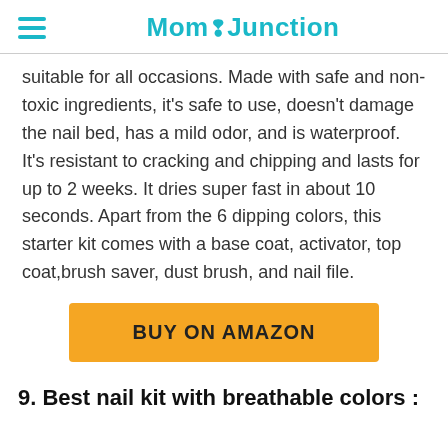Mom Junction
suitable for all occasions. Made with safe and non-toxic ingredients, it's safe to use, doesn't damage the nail bed, has a mild odor, and is waterproof. It's resistant to cracking and chipping and lasts for up to 2 weeks. It dries super fast in about 10 seconds. Apart from the 6 dipping colors, this starter kit comes with a base coat, activator, top coat,brush saver, dust brush, and nail file.
[Figure (other): BUY ON AMAZON button in orange/yellow]
9. Best nail kit with breathable colors :